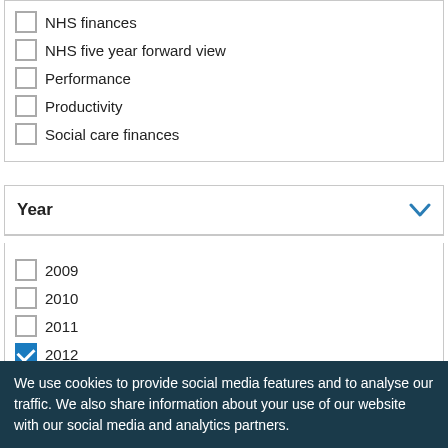NHS finances
NHS five year forward view
Performance
Productivity
Social care finances
Year
2009
2010
2011
2012 (checked)
2013
2014
2017
We use cookies to provide social media features and to analyse our traffic. We also share information about your use of our website with our social media and analytics partners.